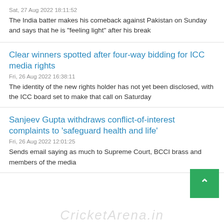Sat, 27 Aug 2022 18:11:52
The India batter makes his comeback against Pakistan on Sunday and says that he is "feeling light" after his break
Clear winners spotted after four-way bidding for ICC media rights
Fri, 26 Aug 2022 16:38:11
The identity of the new rights holder has not yet been disclosed, with the ICC board set to make that call on Saturday
Sanjeev Gupta withdraws conflict-of-interest complaints to 'safeguard health and life'
Fri, 26 Aug 2022 12:01:25
Sends email saying as much to Supreme Court, BCCI brass and members of the media